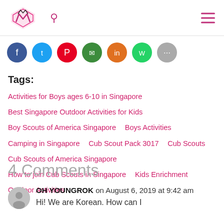[Logo] [Search] [Menu]
[Figure (other): Social sharing icons row: Facebook (blue), Twitter (light blue), Pinterest (red), WhatsApp (green), another share (orange), WhatsApp (green), grey share]
Tags:
Activities for Boys ages 6-10 in Singapore
Best Singapore Outdoor Activities for Kids
Boy Scouts of America Singapore   Boys Activities
Camping in Singapore   Cub Scout Pack 3017   Cub Scouts
Cub Scouts of America Singapore
How to join Cub Scouts in Singapore   Kids Enrichment
Outdoor Activities
4 Comments
OH YOUNGROK on August 6, 2019 at 9:42 am
Hi! We are Korean. How can I